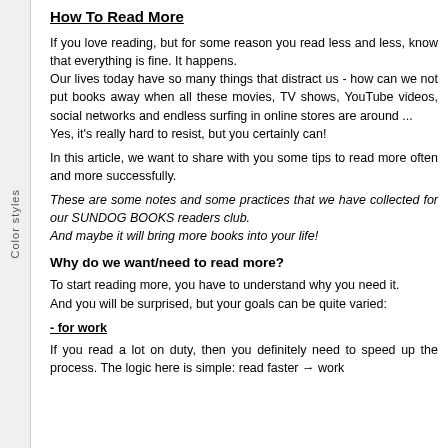How To Read More
If you love reading, but for some reason you read less and less, know that everything is fine. It happens.
Our lives today have so many things that distract us - how can we not put books away when all these movies, TV shows, YouTube videos, social networks and endless surfing in online stores are around ...
Yes, it's really hard to resist, but you certainly can!
In this article, we want to share with you some tips to read more often and more successfully.
These are some notes and some practices that we have collected for our SUNDOG BOOKS readers club.
And maybe it will bring more books into your life!
Why do we want/need to read more?
To start reading more, you have to understand why you need it.
And you will be surprised, but your goals can be quite varied:
- for work
If you read a lot on duty, then you definitely need to speed up the process. The logic here is simple: read faster → work